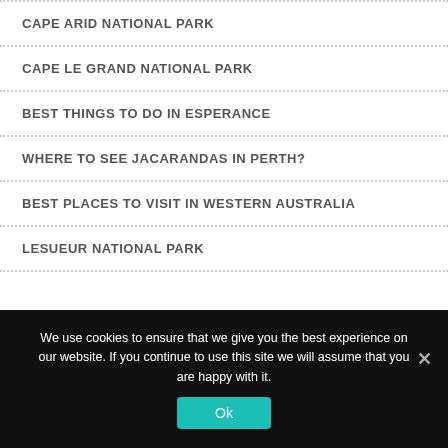CAPE ARID NATIONAL PARK
CAPE LE GRAND NATIONAL PARK
BEST THINGS TO DO IN ESPERANCE
WHERE TO SEE JACARANDAS IN PERTH?
BEST PLACES TO VISIT IN WESTERN AUSTRALIA
LESUEUR NATIONAL PARK
We use cookies to ensure that we give you the best experience on our website. If you continue to use this site we will assume that you are happy with it.